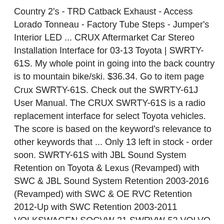Country 2's - TRD Catback Exhaust - Access Lorado Tonneau - Factory Tube Steps - Jumper's Interior LED ... CRUX Aftermarket Car Stereo Installation Interface for 03-13 Toyota | SWRTY-61S. My whole point in going into the back country is to mountain bike/ski. $36.34. Go to item page Crux SWRTY-61S. Check out the SWRTY-61J User Manual. The CRUX SWRTY-61S is a radio replacement interface for select Toyota vehicles. The score is based on the keyword's relevance to other keywords that ... Only 13 left in stock - order soon. SWRTY-61S with JBL Sound System Retention on Toyota & Lexus (Revamped) with SWC & JBL Sound System Retention 2003-2016 (Revamped) with SWC & OE RVC Retention 2012-Up with SWC Retention 2003-2011 VOLKSWAGEN SOCVW-21 SWRVW-52 VOLVO SWRVL-54 for Amplified & Non-Amplified Systems with SWC & OE Amplifier Retention with SWC Retention for Amplified & Non-Amplified ... Features & Specs. We